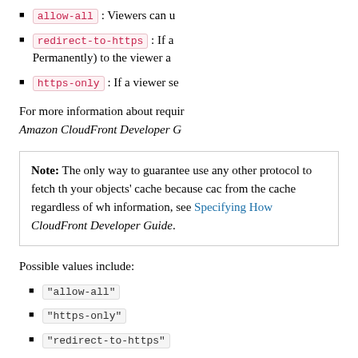allow-all : Viewers can u
redirect-to-https : If a Permanently) to the viewer a
https-only : If a viewer se
For more information about requir Amazon CloudFront Developer G
Note: The only way to guarantee use any other protocol to fetch th your objects' cache because cac from the cache regardless of wh information, see Specifying How CloudFront Developer Guide.
Possible values include:
"allow-all"
"https-only"
"redirect-to-https"